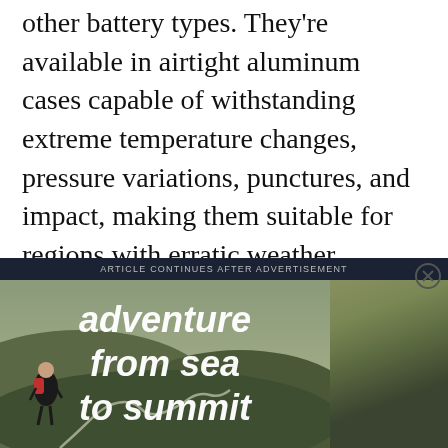other battery types. They're available in airtight aluminum cases capable of withstanding extreme temperature changes, pressure variations, punctures, and impact, making them suitable for regions with erratic weather conditions. If you need solar generators for outdoor use, LiFePO4 batteries are ideal.
ARTICLE CONTINUES AFTER ADVERTISEMENT
[Figure (photo): Advertisement overlay showing a hiker with a red backpack looking out over a mountain landscape with winding paths. Bold italic white text reads 'adventure from sea to summit'. A dark side panel is partially visible on the right with a teal accent bar.]